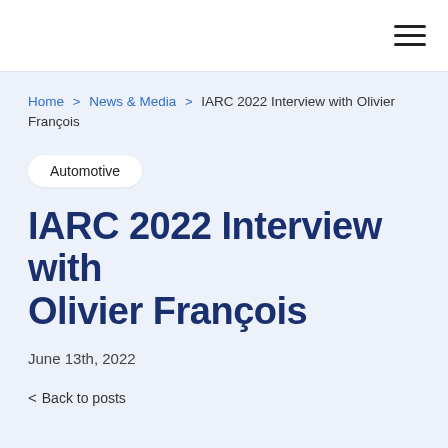Navigation bar with hamburger menu icon
Home > News & Media > IARC 2022 Interview with Olivier François
Automotive
IARC 2022 Interview with Olivier François
June 13th, 2022
< Back to posts